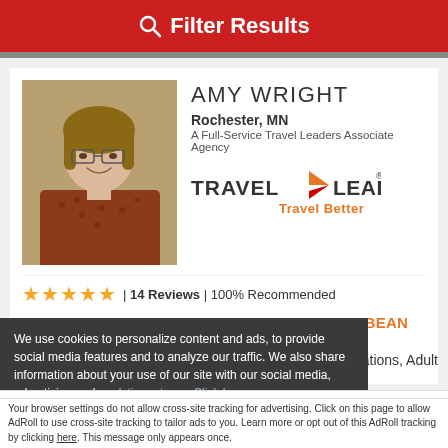Filter Results
[Figure (photo): Headshot photo of Amy Wright, a woman with glasses wearing a rust-colored patterned jacket]
AMY WRIGHT
Rochester, MN
A Full-Service Travel Leaders Associate Agency
[Figure (logo): Travel Leaders logo with orange arrow and text 'Travel Better']
★★★★★ | 14 Reviews | 100% Recommended
OCEAN CRUISING AT ITS BEST IN THE CARIBBEAN
DESTINATION SPECIALTIES
Caribbean, Colombia, Jamaica, Costa Rica, Bahamas
We use cookies to personalize content and ads, to provide social media features and to analyze our traffic. We also share information about your use of our site with our social media, advertising and analytic partners.
ly Vacations, Adult
Accept and Close ×
Your browser settings do not allow cross-site tracking for advertising. Click on this page to allow AdRoll to use cross-site tracking to tailor ads to you. Learn more or opt out of this AdRoll tracking by clicking here. This message only appears once.